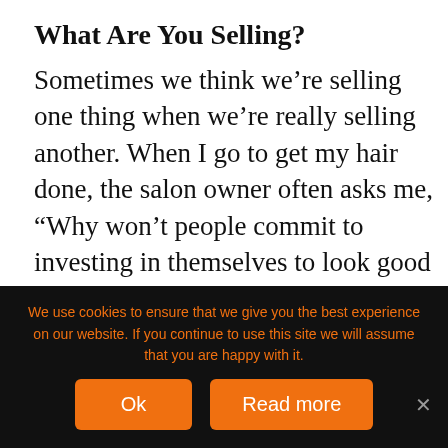What Are You Selling?
Sometimes we think we’re selling one thing when we’re really selling another. When I go to get my hair done, the salon owner often asks me, “Why won’t people commit to investing in themselves to look good instead of only coming here occasionally?” I always respond, “Because haircuts are too expensive.”
Upon further reflection, I don’t think it’s
We use cookies to ensure that we give you the best experience on our website. If you continue to use this site we will assume that you are happy with it.